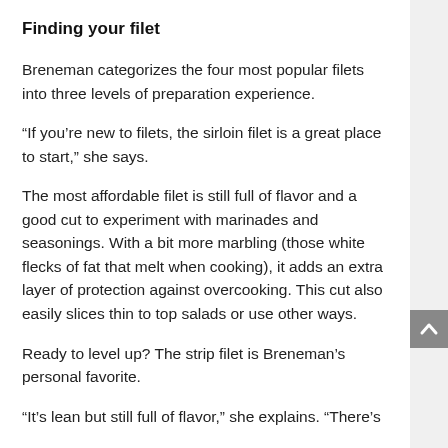Finding your filet
Breneman categorizes the four most popular filets into three levels of preparation experience.
“If you’re new to filets, the sirloin filet is a great place to start,” she says.
The most affordable filet is still full of flavor and a good cut to experiment with marinades and seasonings. With a bit more marbling (those white flecks of fat that melt when cooking), it adds an extra layer of protection against overcooking. This cut also easily slices thin to top salads or use other ways.
Ready to level up? The strip filet is Breneman’s personal favorite.
“It’s lean but still full of flavor,” she explains. “There’s